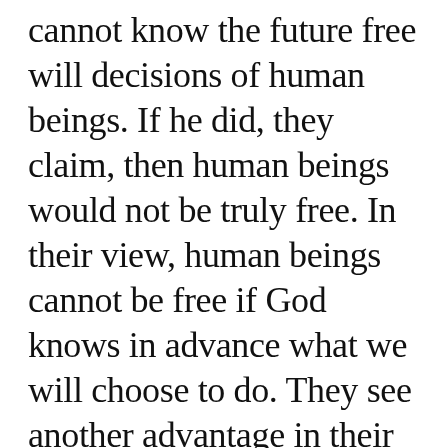cannot know the future free will decisions of human beings. If he did, they claim, then human beings would not be truly free. In their view, human beings cannot be free if God knows in advance what we will choose to do. They see another advantage in their paradigm, namely, God is not